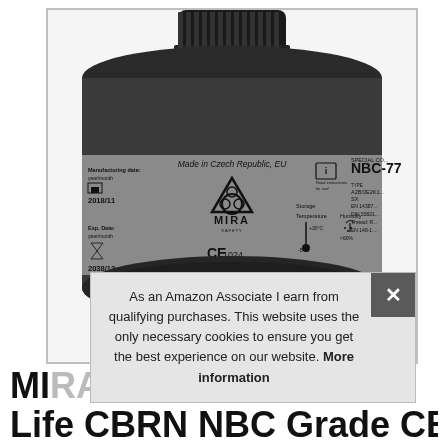[Figure (photo): Close-up photo of a MIRA Safety NBC-77 gas mask filter canister. The canister is dark gray/black. The label shows: Manufacturing date: year/month, 2018/11; Made in Czech Republic, EU; biohazard symbol with MIRA logo; CE 1024 mark; SPECIAL CO... NBC-77; TYPE A2B/2E2K1... SX; Storage Temperature -5°C to +30°C; Humidity <60%; EN 14387; DIN 53821; Thread; EN 148-1; Exp. Date year/month 2038/12.]
As an Amazon Associate I earn from qualifying purchases. This website uses the only necessary cookies to ensure you get the best experience on our website. More information
MI... Re... Life CBRN NBC Grade CBRN Filter